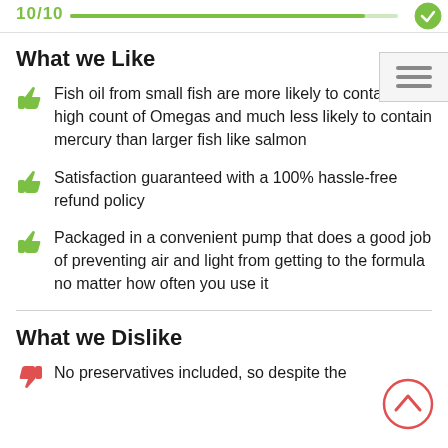10/10
What we Like
Fish oil from small fish are more likely to contain a high count of Omegas and much less likely to contain mercury than larger fish like salmon
Satisfaction guaranteed with a 100% hassle-free refund policy
Packaged in a convenient pump that does a good job of preventing air and light from getting to the formula no matter how often you use it
What we Dislike
No preservatives included, so despite the